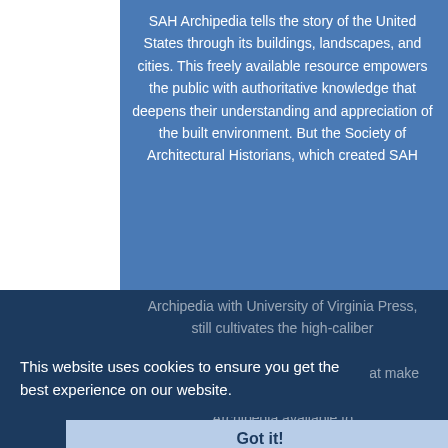SAH Archipedia tells the story of the United States through its buildings, landscapes, and cities. This freely available resource empowers the public with authoritative knowledge that deepens their understanding and appreciation of the built environment. But the Society of Architectural Historians, which created SAH Archipedia with University of Virginia Press, still cultivates the high-caliber scholarship, cartography, editing, design, and programming that make SAH Archipedia available to all who value the history of place, heritage tourism, and learning.
This website uses cookies to ensure you get the best experience on our website.
Got it!